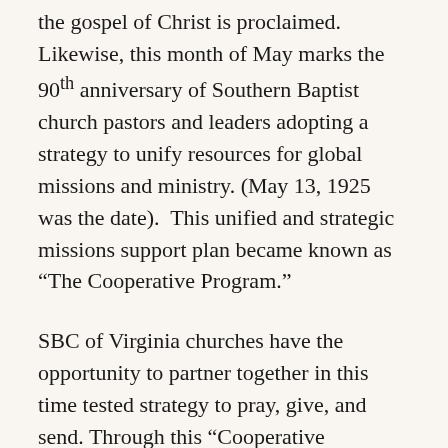the gospel of Christ is proclaimed. Likewise, this month of May marks the 90th anniversary of Southern Baptist church pastors and leaders adopting a strategy to unify resources for global missions and ministry. (May 13, 1925 was the date).  This unified and strategic missions support plan became known as “The Cooperative Program.”
SBC of Virginia churches have the opportunity to partner together in this time tested strategy to pray, give, and send. Through this “Cooperative Program” or Cooperative Partnership, a church is able to support a greater missionary force and have